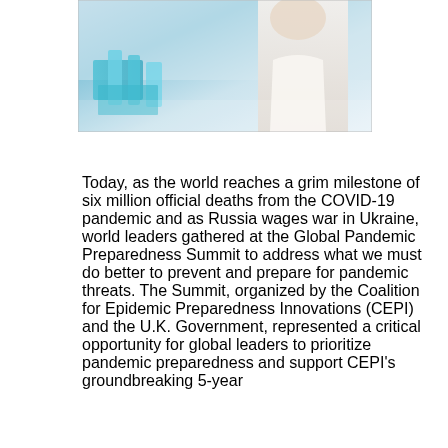[Figure (photo): Laboratory photo showing a person in a white coat (likely a scientist or medical professional) with laboratory equipment and blue/teal colored lab glassware in the foreground.]
Today, as the world reaches a grim milestone of six million official deaths from the COVID-19 pandemic and as Russia wages war in Ukraine, world leaders gathered at the Global Pandemic Preparedness Summit to address what we must do better to prevent and prepare for pandemic threats. The Summit, organized by the Coalition for Epidemic Preparedness Innovations (CEPI) and the U.K. Government, represented a critical opportunity for global leaders to prioritize pandemic preparedness and support CEPI's groundbreaking 5-year